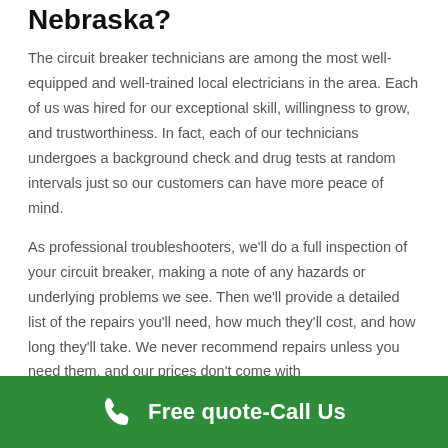Nebraska?
The circuit breaker technicians are among the most well-equipped and well-trained local electricians in the area. Each of us was hired for our exceptional skill, willingness to grow, and trustworthiness. In fact, each of our technicians undergoes a background check and drug tests at random intervals just so our customers can have more peace of mind.
As professional troubleshooters, we'll do a full inspection of your circuit breaker, making a note of any hazards or underlying problems we see. Then we'll provide a detailed list of the repairs you'll need, how much they'll cost, and how long they'll take. We never recommend repairs unless you need them, and our prices don't come with
Free quote-Call Us